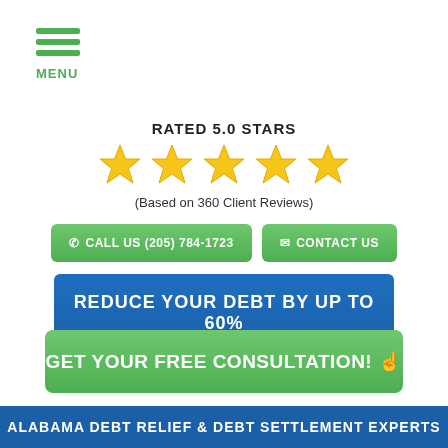MENU
RATED 5.0 STARS
[Figure (other): Five gold star rating icons]
(Based on 360 Client Reviews)
CALL US (205) 784-1723
CONTACT US
REDUCE YOUR DEBT BY UP TO 60%
GET YOUR FREE CONSULTATION!
ALABAMA DEBT RELIEF & DEBT SETTLEMENT EXPERTS